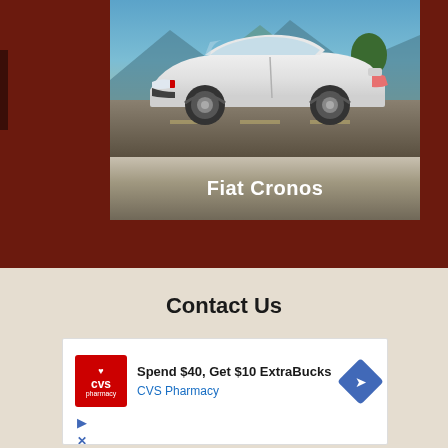[Figure (photo): White Fiat Cronos sedan car driving on a road with mountains and trees in the background. The car is shown in a dynamic side-angled view.]
Fiat Cronos
Contact Us
[Figure (screenshot): CVS Pharmacy advertisement banner: 'Spend $40, Get $10 ExtraBucks' with CVS Pharmacy logo (red square with heart) on left, text in center, blue diamond arrow icon on right. Below are play and close/X icons.]